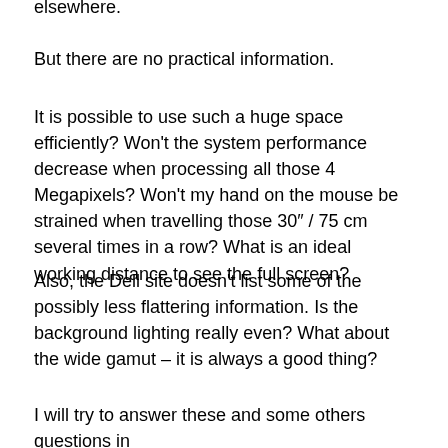elsewhere.
But there are no practical information.
It is possible to use such a huge space efficiently? Won’t the system performance decrease when processing all those 4 Megapixels? Won’t my hand on the mouse be strained when travelling those 30″ / 75 cm several times in a row? What is an ideal working distance to see the full screen?
Also, the Dell site doesn’t list some of the possibly less flattering information. Is the background lighting really even? What about the wide gamut – it is always a good thing?
I will try to answer these and some others questions in